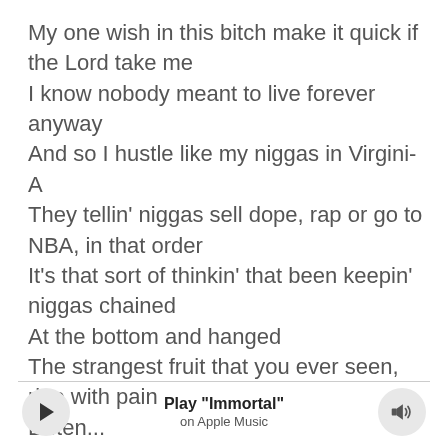My one wish in this bitch make it quick if the Lord take me
I know nobody meant to live forever anyway
And so I hustle like my niggas in Virgini-A
They tellin' niggas sell dope, rap or go to NBA, in that order
It's that sort of thinkin' that been keepin' niggas chained
At the bottom and hanged
The strangest fruit that you ever seen, ripe with pain
Listen...
[Figure (other): Apple Music player bar with play button, track title 'Play "Immortal"', subtitle 'on Apple Music', and volume button]